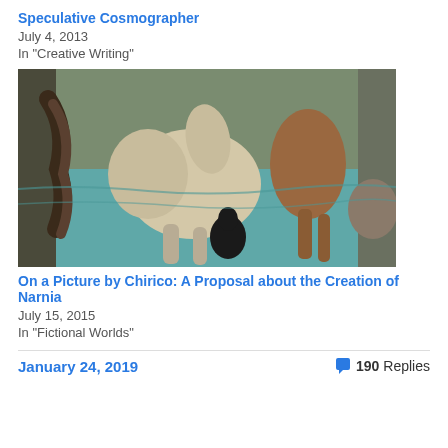Speculative Cosmographer
July 4, 2013
In "Creative Writing"
[Figure (photo): Painting of horses near water, two horses visible — a white/cream horse in the center and a brown horse to the right, with a dark figure and rocky coastline in the background. Style resembles Giorgio de Chirico's work.]
On a Picture by Chirico: A Proposal about the Creation of Narnia
July 15, 2015
In "Fictional Worlds"
January 24, 2019
190 Replies